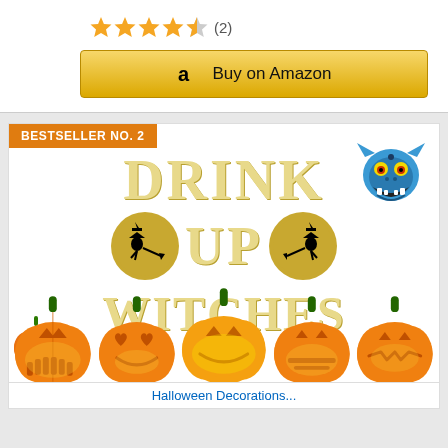[Figure (other): 4.5 star rating with (2) reviews]
[Figure (other): Buy on Amazon button with Amazon logo]
BESTSELLER NO. 2
[Figure (illustration): Drink Up Witches Halloween banner product image with glitter gold text, witch silhouette circles, blue monster face, pumpkin jack-o-lanterns at bottom]
Halloween Decorations...